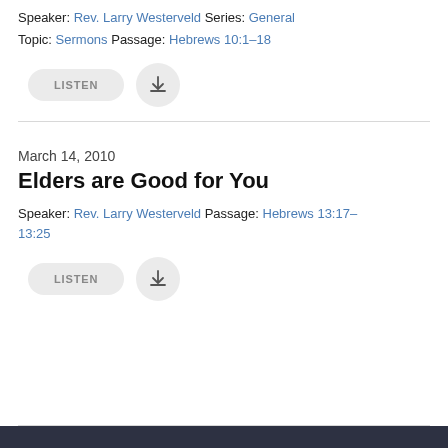Speaker: Rev. Larry Westerveld Series: General
Topic: Sermons Passage: Hebrews 10:1–18
[Figure (other): LISTEN button and download icon button]
March 14, 2010
Elders are Good for You
Speaker: Rev. Larry Westerveld Passage: Hebrews 13:17–13:25
[Figure (other): LISTEN button and download icon button]